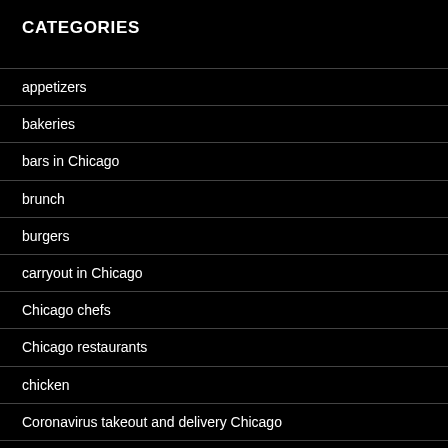CATEGORIES
appetizers
bakeries
bars in Chicago
brunch
burgers
carryout in Chicago
Chicago chefs
Chicago restaurants
chicken
Coronavirus takeout and delivery Chicago
COVID-19 Chicago restaurants